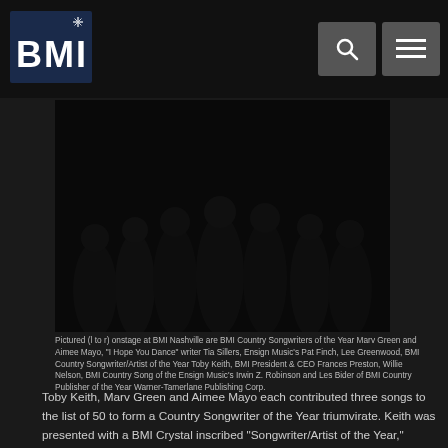BMI
[Figure (photo): Group of people pictured onstage at BMI Nashville, dark background, multiple individuals standing together]
Pictured (l to r) onstage at BMI Nashville are BMI Country Songwriters of the Year Marv Green and Aimee Mayo, "I Hope You Dance" writer Tia Sillers, Ensign Music's Pat Finch, Lee Greenwood, BMI Country Songwriter/Artist of the Year Toby Keith, BMI President & CEO Frances Preston, Willie Nelson, BMI Country Song of the Ensign Music's Irwin Z. Robinson and Les Bider of BMI Country Publisher of the Year Warner-Tamerlane Publishing Corp.
Toby Keith, Marv Green and Aimee Mayo each contributed three songs to the list of 50 to form a Country Songwriter of the Year triumvirate. Keith was presented with a BMI Crystal inscribed "Songwriter/Artist of the Year," Green and Mayo with "Songwriter of the Year" Crystals.